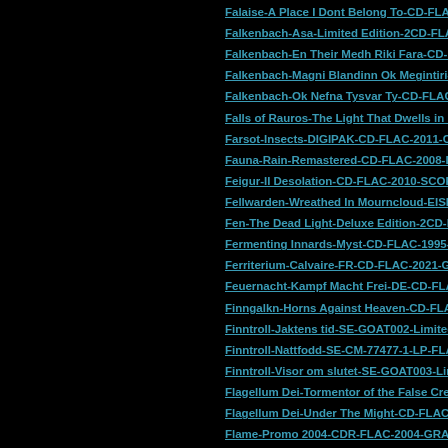Falaise-A Place I Dont Belong To-CD-FLAC-2013-SC
Falkenbach-Asa-Limited Edition-2CD-FLAC-2013-S
Falkenbach-En Their Medh Riki Fara-CD-FLAC-199
Falkenbach-Magni Blandinn Ok Megintiri-CD-FLAC
Falkenbach-Ok Nefna Tysvar Ty-CD-FLAC-2003-SC
Falls of Rauros-The Light That Dwells in Rotten Wo
Farsot-Insects-DIGIPAK-CD-FLAC-2011-CRUELTY
Fauna-Rain-Remastered-CD-FLAC-2008-DeVOiD
Feigur-II Desolation-CD-FLAC-2010-SCORN
Fellwarden-Wreathed In Mourncloud-EISEN161-CD-
Fen-The Dead Light-Deluxe Edition-2CD-FLAC-201
Fermenting Innards-Myst-CD-FLAC-1995-SCORN
Ferriterium-Calvaire-FR-CD-FLAC-2021-GRAVEWI
Feuernacht-Kampf Macht Frei-DE-CD-FLAC-2012-F
Finngalkn-Horns Against Heaven-CD-FLAC-2007-m
Finntroll-Jaktens tid-SE-GOAT002-Limited Edition-L
Finntroll-Nattfodd-SE-CM-77477-1-LP-FLAC-2005-
Finntroll-Visor om slutet-SE-GOAT003-Limited Editi
Flagellum Dei-Tormentor of the False Creator-CD-FL
Flagellum Dei-Under The Might-CD-FLAC-2007-SC
Flame-Promo 2004-CDR-FLAC-2004-GRAVEWISH
Flamen-Supremo Die-HWP-018-Limited Edition-LP-
Flames of Hell-Fire and Steel-BOOTLEG-CD-FLAC-
Flauros-Before My Eyes the New World Rose-EP-FL
Fluisteraars-Bloem-LP-FLAC-2020-mwnd
Fluisteraars-Dromers-REISSUE-LP-FLAC-2018-FL